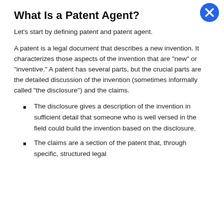What Is a Patent Agent?
Let's start by defining patent and patent agent.
A patent is a legal document that describes a new invention. It characterizes those aspects of the invention that are "new" or "inventive." A patent has several parts, but the crucial parts are the detailed discussion of the invention (sometimes informally called "the disclosure") and the claims.
The disclosure gives a description of the invention in sufficient detail that someone who is well versed in the field could build the invention based on the disclosure.
The claims are a section of the patent that, through specific, structured legal